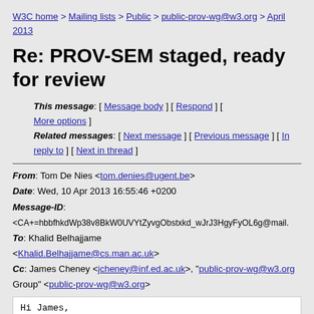W3C home > Mailing lists > Public > public-prov-wg@w3.org > April 2013
Re: PROV-SEM staged, ready for review
This message: [ Message body ] [ Respond ] [ More options ] Related messages: [ Next message ] [ Previous message ] [ In reply to ] [ Next in thread ]
From: Tom De Nies <tom.denies@ugent.be> Date: Wed, 10 Apr 2013 16:55:46 +0200 Message-ID: <CA+=hbbfhkdWp38v8BkW0UVYtZyvgObstxkd_wJrJ3HgyFyOL6g@mail. To: Khalid Belhajjame <Khalid.Belhajjame@cs.man.ac.uk> Cc: James Cheney <jcheney@inf.ed.ac.uk>, "public-prov-wg@w3.org Group" <public-prov-wg@w3.org>
Hi James,